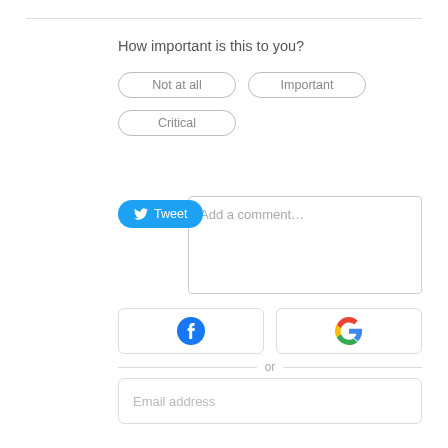How important is this to you?
Not at all
Important
Critical
[Figure (other): Twitter Tweet button (blue pill shape with bird icon and 'Tweet' text)]
Add a comment...
[Figure (other): Facebook login button with blue Facebook 'f' icon]
[Figure (other): Google login button with Google 'G' logo]
or
Email address